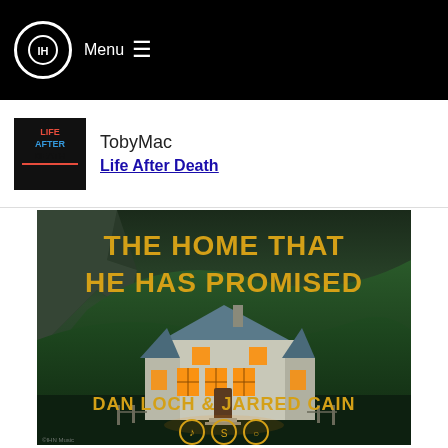Menu
TobyMac
Life After Death
[Figure (illustration): Promotional image for 'The Home That He Has Promised' by Dan Loch & Jarred Cain. Shows a white farmhouse with glowing orange windows set against a dramatic green hillside at dusk. Bold yellow/orange text reads 'THE HOME THAT HE HAS PROMISED' at the top, and 'DAN LOCH & JARRED CAIN' near the bottom, with streaming service icons.]